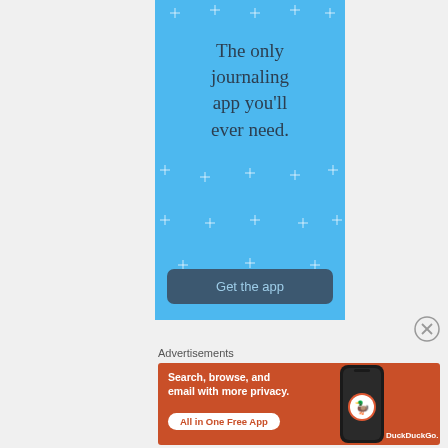[Figure (illustration): Advertisement banner with light blue background showing sparkle/star decorations and text 'The only journaling app you'll ever need.' with a 'Get the app' button]
Advertisements
[Figure (illustration): DuckDuckGo advertisement on orange/red background. Text: 'Search, browse, and email with more privacy. All in One Free App' with DuckDuckGo logo and phone mockup showing the app.]